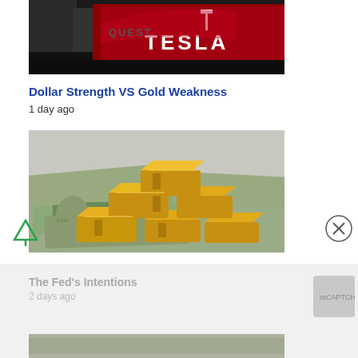[Figure (photo): Tesla red car with Tesla logo/branding at what appears to be a showroom or dealership]
Dollar Strength VS Gold Weakness
1 day ago
[Figure (photo): Stack of gold bars/ingots piled on top of US dollar bills]
The Fed's Intentions
2 days ago